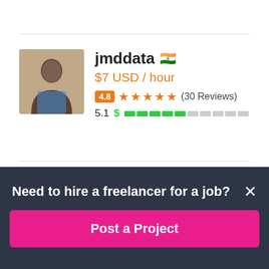[Figure (photo): Profile photo of freelancer jmddata — person seated, partially visible, dark background]
jmddata 🇮🇳
$7 USD / hour
4.8 ★★★★★ (30 Reviews)
5.1 $ ▓▓▓▓▓░░░░░
[Figure (photo): Partial profile photo of second freelancer, dark/black background]
adcbcann 🇺🇸
Need to hire a freelancer for a job?
Post a Project